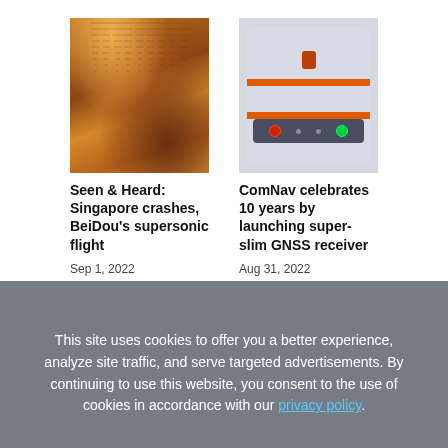[Figure (photo): Cave interior with stalactites reflected in water, warm amber/orange lighting]
[Figure (photo): GNSS receiver device with orange accent lines, dark control panel with power and indicator LEDs]
Seen & Heard: Singapore crashes, BeiDou's supersonic flight
Sep 1, 2022
ComNav celebrates 10 years by launching super-slim GNSS receiver
Aug 31, 2022
This site uses cookies to offer you a better experience, analyze site traffic, and serve targeted advertisements. By continuing to use this website, you consent to the use of cookies in accordance with our privacy policy.